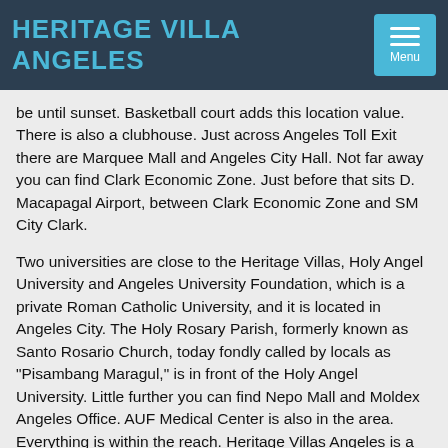HERITAGE VILLA ANGELES
be until sunset. Basketball court adds this location value. There is also a clubhouse. Just across Angeles Toll Exit there are Marquee Mall and Angeles City Hall. Not far away you can find Clark Economic Zone. Just before that sits D. Macapagal Airport, between Clark Economic Zone and SM City Clark.
Two universities are close to the Heritage Villas, Holy Angel University and Angeles University Foundation, which is a private Roman Catholic University, and it is located in Angeles City. The Holy Rosary Parish, formerly known as Santo Rosario Church, today fondly called by locals as "Pisambang Maragul," is in front of the Holy Angel University. Little further you can find Nepo Mall and Moldex Angeles Office. AUF Medical Center is also in the area. Everything is within the reach. Heritage Villas Angeles is a place where you can start a family, or a new life, in a beautiful environment.